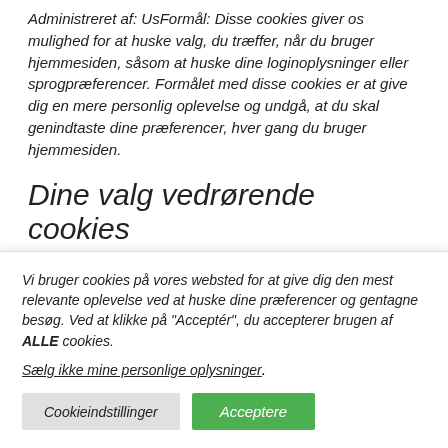Administreret af: UsFormål: Disse cookies giver os mulighed for at huske valg, du træffer, når du bruger hjemmesiden, såsom at huske dine loginoplysninger eller sprogpræferencer. Formålet med disse cookies er at give dig en mere personlig oplevelse og undgå, at du skal genindtaste dine præferencer, hver gang du bruger hjemmesiden.
Dine valg vedrørende cookies
Vi bruger cookies på vores websted for at give dig den mest relevante oplevelse ved at huske dine præferencer og gentagne besøg. Ved at klikke på "Acceptér", du accepterer brugen af ALLE cookies.
Sælg ikke mine personlige oplysninger.
Cookieindstillinger
Acceptere